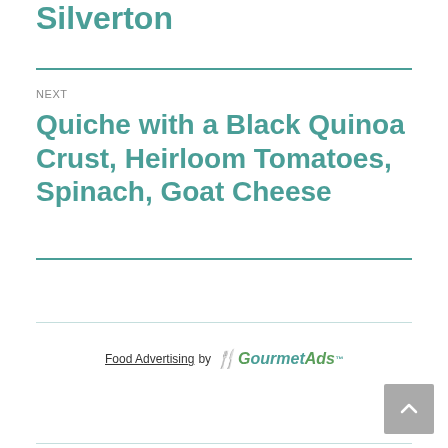Silverton
NEXT
Quiche with a Black Quinoa Crust, Heirloom Tomatoes, Spinach, Goat Cheese
Food Advertising by GourmetAds™